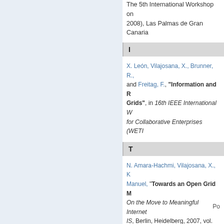The 5th International Workshop on ... 2008), Las Palmas de Gran Canaria...
I
X. León, Vilajosana, X., Brunner, R., ... and Freitag, F., "Information and R... Grids", in 16th IEEE International W... for Collaborative Enterprises (WETI...
T
N. Amara-Hachmi, Vilajosana, X., K... Manuel, "Towards an Open Grid M... On the Move to Meaningful Internet ... IS, Berlin, Heidelberg, 2007, vol. 48...
Po